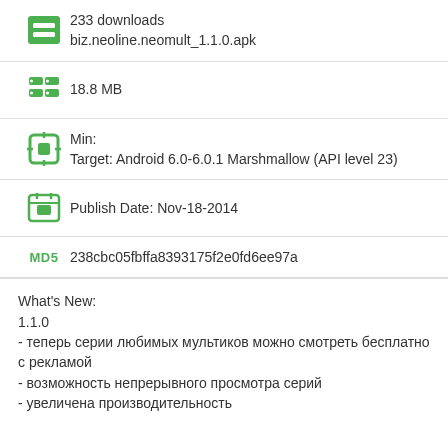233 downloads
biz.neoline.neomult_1.1.0.apk
18.8 MB
Min:
Target: Android 6.0-6.0.1 Marshmallow (API level 23)
Publish Date: Nov-18-2014
MD5  238cbc05fbffa8393175f2e0fd6ee97a
What's New:
1.1.0
- теперь серии любимых мультиков можно смотреть бесплатно с рекламой
- возможность непрерывного просмотра серий
- увеличена производительность